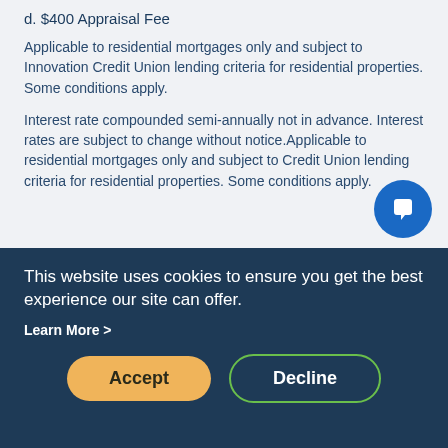d. $400 Appraisal Fee
Applicable to residential mortgages only and subject to Innovation Credit Union lending criteria for residential properties. Some conditions apply.
Interest rate compounded semi-annually not in advance. Interest rates are subject to change without notice.Applicable to residential mortgages only and subject to Credit Union lending criteria for residential properties. Some conditions apply.
This website uses cookies to ensure you get the best experience our site can offer.
Learn More >
Accept
Decline